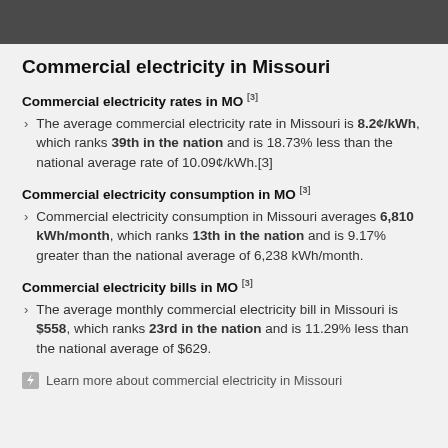Commercial electricity in Missouri
Commercial electricity rates in MO [3]
The average commercial electricity rate in Missouri is 8.2¢/kWh, which ranks 39th in the nation and is 18.73% less than the national average rate of 10.09¢/kWh.[3]
Commercial electricity consumption in MO [3]
Commercial electricity consumption in Missouri averages 6,810 kWh/month, which ranks 13th in the nation and is 9.17% greater than the national average of 6,238 kWh/month.
Commercial electricity bills in MO [3]
The average monthly commercial electricity bill in Missouri is $558, which ranks 23rd in the nation and is 11.29% less than the national average of $629.
Learn more about commercial electricity in Missouri